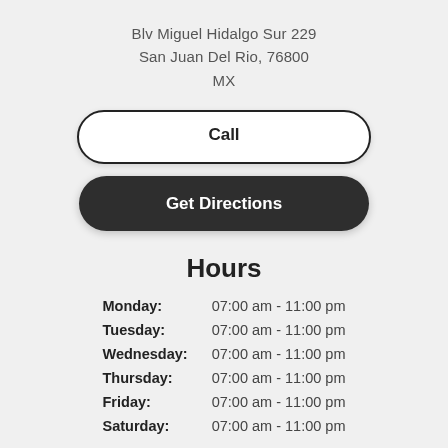Blv Miguel Hidalgo Sur 229
San Juan Del Rio, 76800
MX
Call
Get Directions
Hours
| Day | Hours |
| --- | --- |
| Monday: | 07:00 am - 11:00 pm |
| Tuesday: | 07:00 am - 11:00 pm |
| Wednesday: | 07:00 am - 11:00 pm |
| Thursday: | 07:00 am - 11:00 pm |
| Friday: | 07:00 am - 11:00 pm |
| Saturday: | 07:00 am - 11:00 pm |